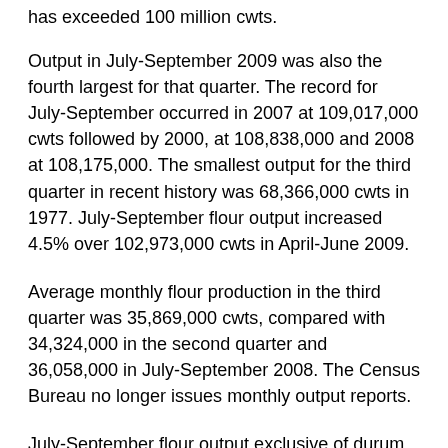has exceeded 100 million cwts.
Output in July-September 2009 was also the fourth largest for that quarter. The record for July-September occurred in 2007 at 109,017,000 cwts followed by 2000, at 108,838,000 and 2008 at 108,175,000. The smallest output for the third quarter in recent history was 68,366,000 cwts in 1977. July-September flour output increased 4.5% over 102,973,000 cwts in April-June 2009.
Average monthly flour production in the third quarter was 35,869,000 cwts, compared with 34,324,000 in the second quarter and 36,058,000 in July-September 2008. The Census Bureau no longer issues monthly output reports.
July-September flour output exclusive of durum semolina production (flour-ex-semolina) totaled 99,704,000 cwts, down 922,000, or 0.9%, from 100,626,000 in the third quarter of 2008, which was the largest since the record in October-